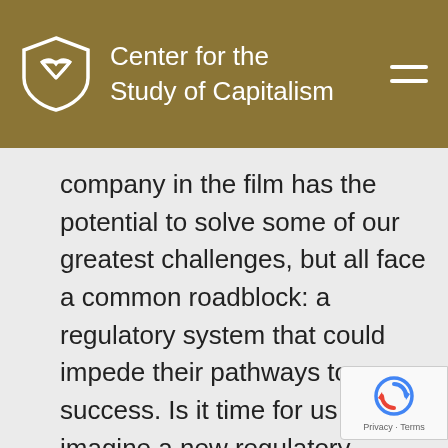Center for the Study of Capitalism
company in the film has the potential to solve some of our greatest challenges, but all face a common roadblock: a regulatory system that could impede their pathways to success. Is it time for us to imagine a new regulatory approach? Join moderator and CSC Executive Director, Dr. Christina Elson, as she leads the discussion on optimism,